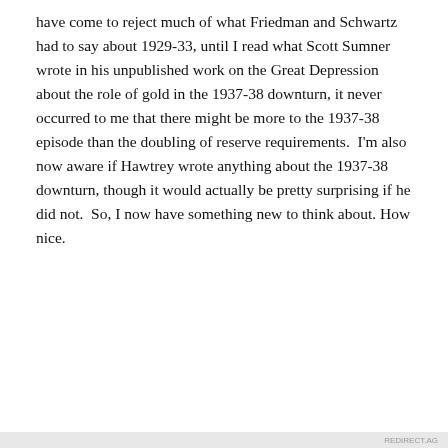have come to reject much of what Friedman and Schwartz had to say about 1929-33, until I read what Scott Sumner wrote in his unpublished work on the Great Depression about the role of gold in the 1937-38 downturn, it never occurred to me that there might be more to the 1937-38 episode than the doubling of reserve requirements. I'm also now aware if Hawtrey wrote anything about the 1937-38 downturn, though it would actually be pretty surprising if he did not. So, I now have something new to think about. How nice.
Privacy & Cookies: This site uses cookies. By continuing to use this website, you agree to their use.
To find out more, including how to control cookies, see here: Cookie Policy
REDIRECT.AG